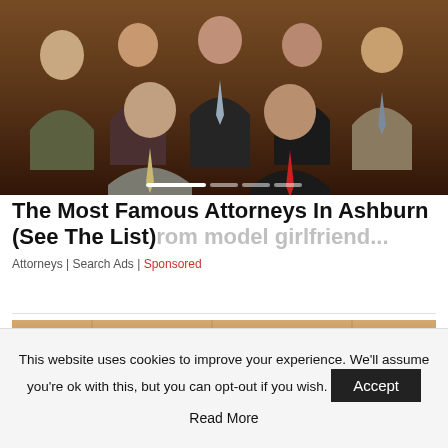[Figure (photo): Group photo of attorneys in business attire posed formally, seated and standing in two rows, against a wood-paneled background. Slideshow with navigation dots visible at bottom.]
The Most Famous Attorneys In Ashburn (See The List)
from model girlfriend...
Attorneys | Search Ads | Sponsored
[Figure (photo): Partial photo showing what appears to be a stone or brick wall texture, tan/brown colors.]
This website uses cookies to improve your experience. We'll assume you're ok with this, but you can opt-out if you wish. Accept Read More